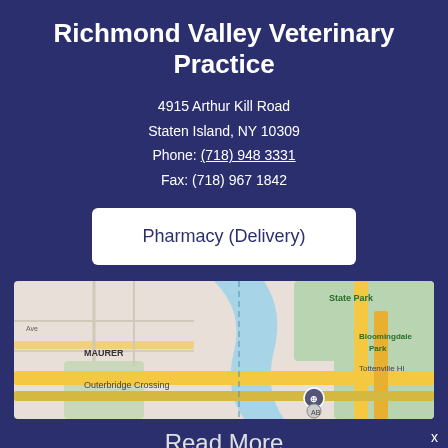Richmond Valley Veterinary Practice
4915 Arthur Kill Road
Staten Island, NY 10309
Phone: (718) 948 3331
Fax: (718) 967 1842
Pharmacy (Delivery)
[Figure (map): Google Maps screenshot showing the area around 4915 Arthur Kill Road, Staten Island, NY with landmarks including Outerbridge Crossing, Target, State Park, Bloomingdale Park, MAURER, and Tottenville High School visible.]
Read More
Common behavioral issues observed in overweight dogs